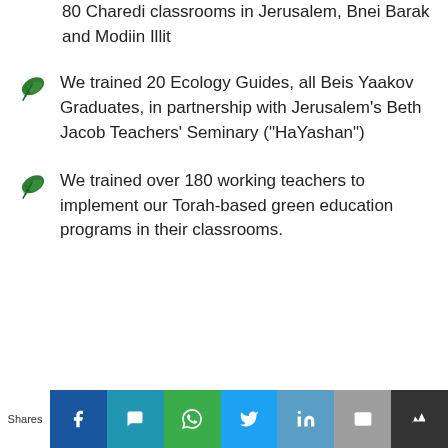80 Charedi classrooms in Jerusalem, Bnei Barak and Modiin Illit
We trained 20 Ecology Guides, all Beis Yaakov Graduates, in partnership with Jerusalem's Beth Jacob Teachers' Seminary ("HaYashan")
We trained over 180 working teachers to implement our Torah-based green education programs in their classrooms.
Shares | Facebook | Message | WhatsApp | Twitter | LinkedIn | Email | Bookmark